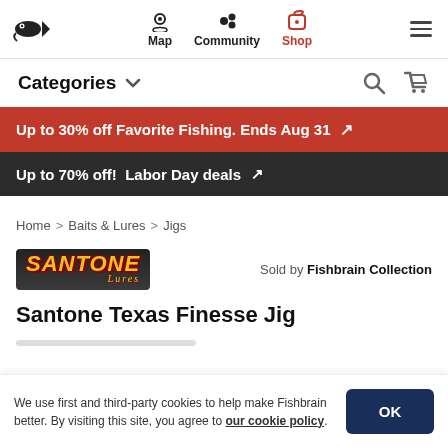Map | Community | Shop navigation with logo and hamburger menu
Categories
Up to 30% off Favorite Fishing. Ends Aug 31 ↗
Up to 70% off! Labor Day deals ↗
Home > Baits & Lures > Jigs
[Figure (logo): Santone Lures logo in gold italic text with dark red outline]
Sold by Fishbrain Collection
Santone Texas Finesse Jig
We use first and third-party cookies to help make Fishbrain better. By visiting this site, you agree to our cookie policy.